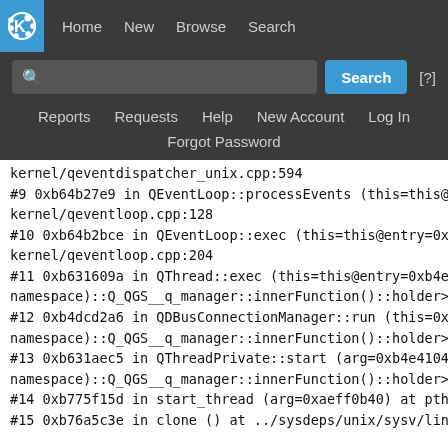[Figure (screenshot): KDE Bugtracker navigation bar with KDE gear icon, Home/New/Browse/Search links, search input box, Search button, [?] help, secondary nav with Reports/Requests/Help/New Account/Log In, and Forgot Password link]
kernel/qeventdispatcher_unix.cpp:594
#9  0xb64b27e9 in QEventLoop::processEvents (this=this@entry=0... kernel/qeventloop.cpp:128
#10 0xb64b2bce in QEventLoop::exec (this=this@entry=0xaeff0254... kernel/qeventloop.cpp:204
#11 0xb631609a in QThread::exec (this=this@entry=0xb4e41040 <a... namespace)::Q_QGS__q_manager::innerFunction()::holder>) at thr...
#12 0xb4dcd2a6 in QDBusConnectionManager::run (this=0xb4e41040... namespace)::Q_QGS__q_manager::innerFunction()::holder>) at qdb...
#13 0xb631aec5 in QThreadPrivate::start (arg=0xb4e41040 <anony... namespace)::Q_QGS__q_manager::innerFunction()::holder>) at thr...
#14 0xb775f15d in start_thread (arg=0xaeff0b40) at pthread_creat...
#15 0xb76a5c3e in clone () at ../sysdeps/unix/sysv/linux/i386/clo...